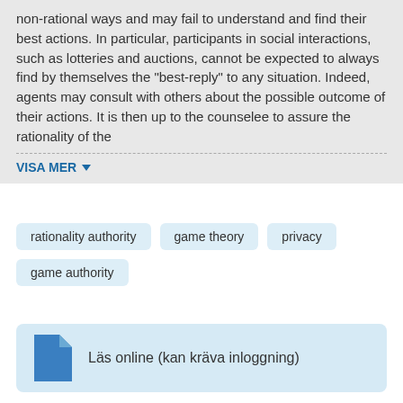non-rational ways and may fail to understand and find their best actions. In particular, participants in social interactions, such as lotteries and auctions, cannot be expected to always find by themselves the "best-reply" to any situation. Indeed, agents may consult with others about the possible outcome of their actions. It is then up to the counselee to assure the rationality of the
VISA MER
rationality authority
game theory
privacy
game authority
Läs online (kan kräva inloggning)